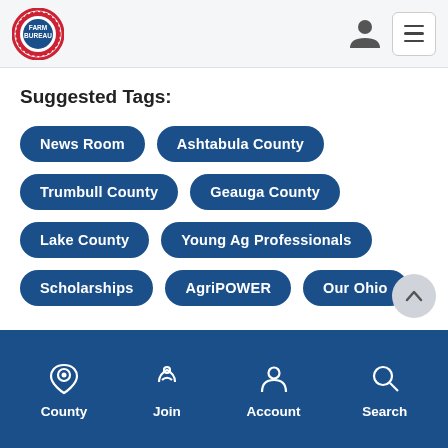[Figure (logo): Farm Bureau circular badge logo in red, white and blue]
Suggested Tags:
News Room
Ashtabula County
Trumbull County
Geauga County
Lake County
Young Ag Professionals
Scholarships
AgriPOWER
Our Ohio
County | Join | Account | Search